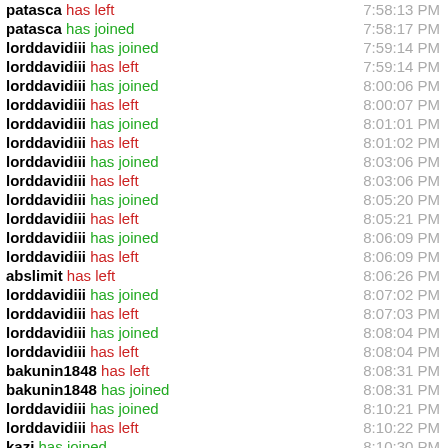patasca has left 7:58:13 PM
patasca has joined 7:58:17 PM
lorddavidiii has joined 7:59:14 PM
lorddavidiii has left 7:59:14 PM
lorddavidiii has joined 8:00:06 PM
lorddavidiii has left 8:00:07 PM
lorddavidiii has joined 8:01:01 PM
lorddavidiii has left 8:01:02 PM
lorddavidiii has joined 8:03:06 PM
lorddavidiii has left 8:03:06 PM
lorddavidiii has joined 8:05:20 PM
lorddavidiii has left 8:05:21 PM
lorddavidiii has joined 8:06:09 PM
lorddavidiii has left 8:06:09 PM
abslimit has left 8:06:26 PM
lorddavidiii has joined 8:07:02 PM
lorddavidiii has left 8:07:03 PM
lorddavidiii has joined 8:08:04 PM
lorddavidiii has left 8:08:04 PM
bakunin1848 has left 8:08:31 PM
bakunin1848 has joined 8:08:31 PM
lorddavidiii has joined 8:10:21 PM
lorddavidiii has left 8:10:22 PM
kazi has joined 8:10:30 PM
Bjarkan has left 8:10:37 PM
arran_im has left